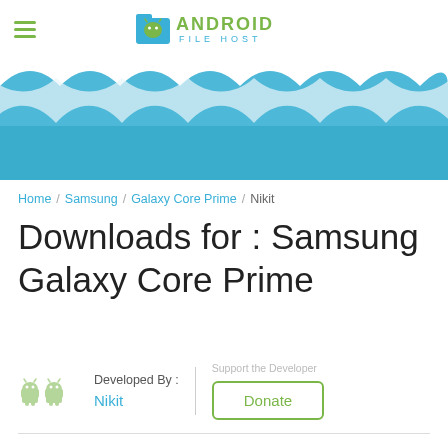Android File Host
[Figure (illustration): Decorative wave banner with blue ocean waves and white scalloped wave tops]
Home / Samsung / Galaxy Core Prime / Nikit
Downloads for : Samsung Galaxy Core Prime
[Figure (illustration): Small green Android robot icons repeated pattern]
Developed By : Nikit
Support the Developer Donate